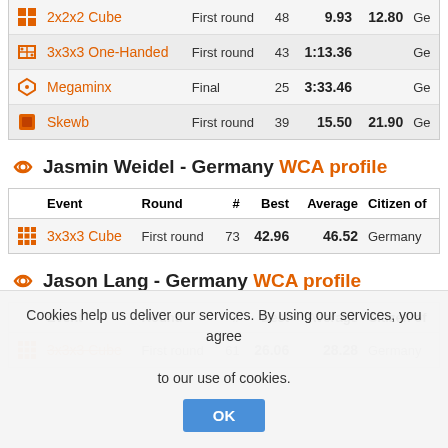| Event | Round | # | Best | Average | Citizen of |
| --- | --- | --- | --- | --- | --- |
| 2x2x2 Cube | First round | 48 | 9.93 | 12.80 | Ge… |
| 3x3x3 One-Handed | First round | 43 | 1:13.36 |  | Ge… |
| Megaminx | Final | 25 | 3:33.46 |  | Ge… |
| Skewb | First round | 39 | 15.50 | 21.90 | Ge… |
Jasmin Weidel - Germany WCA profile
| Event | Round | # | Best | Average | Citizen of |
| --- | --- | --- | --- | --- | --- |
| 3x3x3 Cube | First round | 73 | 42.96 | 46.52 | Germany |
Jason Lang - Germany WCA profile
| Event | Round | # | Best | Average | Citizen of |
| --- | --- | --- | --- | --- | --- |
| 3x3x3 Cube (partial) | First round | 61 | 26.06 | 28.28 | Germany |
Cookies help us deliver our services. By using our services, you agree to our use of cookies.